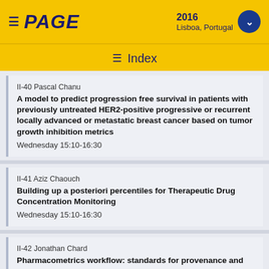PAGE 2016 Lisboa, Portugal Index
II-40 Pascal Chanu
A model to predict progression free survival in patients with previously untreated HER2-positive progressive or recurrent locally advanced or metastatic breast cancer based on tumor growth inhibition metrics
Wednesday 15:10-16:30
II-41 Aziz Chaouch
Building up a posteriori percentiles for Therapeutic Drug Concentration Monitoring
Wednesday 15:10-16:30
II-42 Jonathan Chard
Pharmacometrics workflow: standards for provenance and standardised flow definition